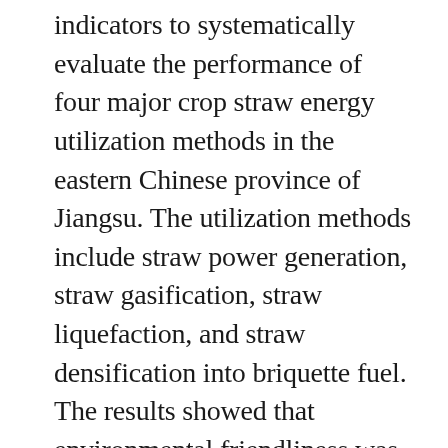indicators to systematically evaluate the performance of four major crop straw energy utilization methods in the eastern Chinese province of Jiangsu. The utilization methods include straw power generation, straw gasification, straw liquefaction, and straw densification into briquette fuel. The results showed that environmental friendliness was the most important indicator that should be considered for straw bioenergy production in the province and that straw densification into briquette fuel was the most suitable straw energy utilization method. Under the policy goal proposed by the Chinese central government to use 20% of all crop straw waste for straw bioenergy production by 2030, the estimated results suggested that the optimal allocation towards straw energy production structure is 40.1% for straw densification into briquette fuel